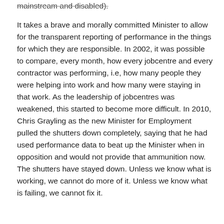mainstream and disabled).
It takes a brave and morally committed Minister to allow for the transparent reporting of performance in the things for which they are responsible. In 2002, it was possible to compare, every month, how every jobcentre and every contractor was performing, i.e, how many people they were helping into work and how many were staying in that work. As the leadership of jobcentres was weakened, this started to become more difficult. In 2010, Chris Grayling as the new Minister for Employment pulled the shutters down completely, saying that he had used performance data to beat up the Minister when in opposition and would not provide that ammunition now. The shutters have stayed down. Unless we know what is working, we cannot do more of it. Unless we know what is failing, we cannot fix it.